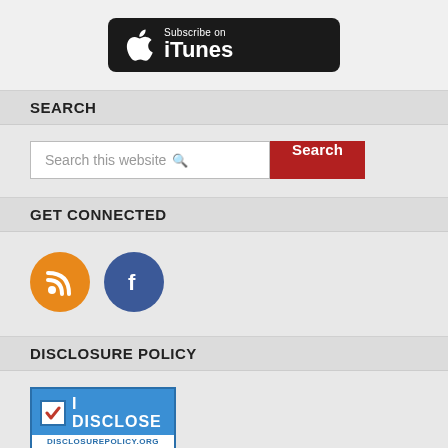[Figure (logo): Subscribe on iTunes badge — black rounded rectangle with Apple logo icon and text 'Subscribe on iTunes' in white]
SEARCH
[Figure (screenshot): Search bar with placeholder text 'Search this website' and a red 'Search' button]
GET CONNECTED
[Figure (logo): Two social media icon circles: orange RSS feed icon and blue Facebook 'f' icon]
DISCLOSURE POLICY
[Figure (logo): I Disclose badge — blue rectangle with checkbox, text 'I DISCLOSE' in white, and 'DISCLOSUREPOLICY.ORG' in bottom white bar]